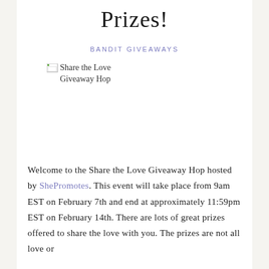Prizes!
BANDIT GIVEAWAYS
[Figure (illustration): Broken image placeholder with alt text 'Share the Love Giveaway Hop']
Welcome to the Share the Love Giveaway Hop hosted by ShePromotes. This event will take place from 9am EST on February 7th and end at approximately 11:59pm EST on February 14th. There are lots of great prizes offered to share the love with you. The prizes are not all love or